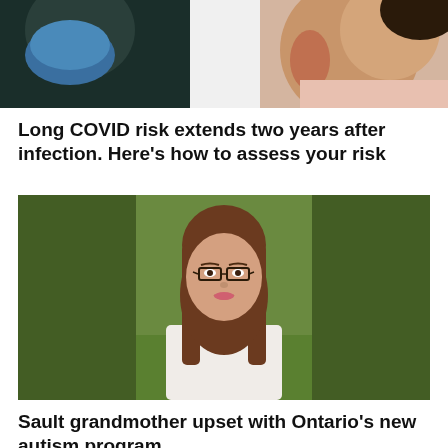[Figure (photo): Partial photo of two people, one wearing a blue mask on the left and another person (child) on the right, cropped at top of page.]
Long COVID risk extends two years after infection. Here's how to assess your risk
[Figure (photo): Portrait photo of a woman with long brown hair, wearing glasses and a white blazer, smiling outdoors with green grass background.]
Sault grandmother upset with Ontario's new autism program